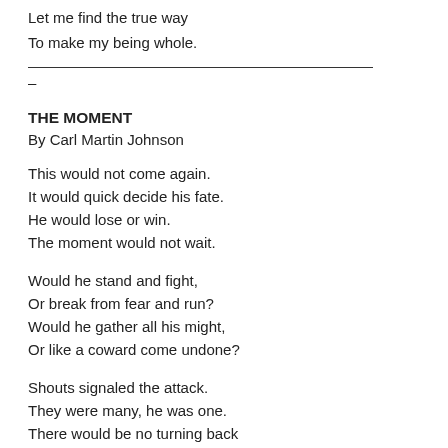Let me find the true way
To make my being whole.
–
THE MOMENT
By Carl Martin Johnson
This would not come again.
It would quick decide his fate.
He would lose or win.
The moment would not wait.
Would he stand and fight,
Or break from fear and run?
Would he gather all his might,
Or like a coward come undone?
Shouts signaled the attack.
They were many, he was one.
There would be no turning back
Once the fighting was begun.